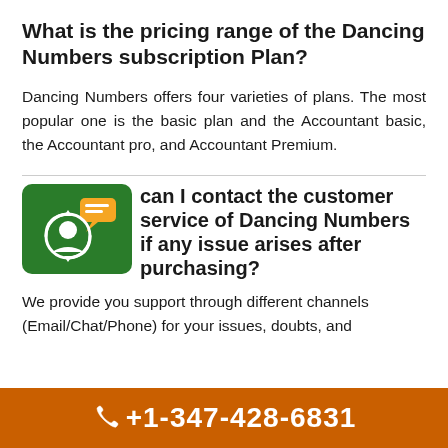What is the pricing range of the Dancing Numbers subscription Plan?
Dancing Numbers offers four varieties of plans. The most popular one is the basic plan and the Accountant basic, the Accountant pro, and Accountant Premium.
can I contact the customer service of Dancing Numbers if any issue arises after purchasing?
[Figure (logo): Green rounded square badge with customer support icon — person with headset and chat bubble]
We provide you support through different channels (Email/Chat/Phone) for your issues, doubts, and
+1-347-428-6831